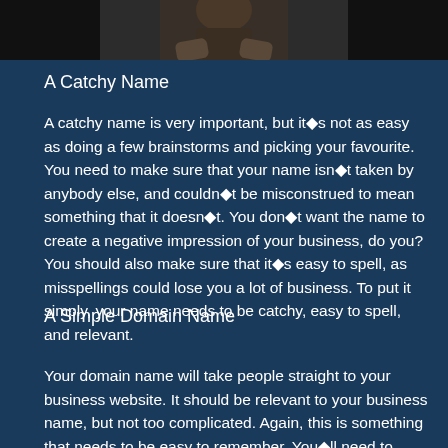[Figure (photo): A partial photo of a person, cropped at the top of the page, showing dark background with hands visible]
A Catchy Name
A catchy name is very important, but it�s not as easy as doing a few brainstorms and picking your favourite. You need to make sure that your name isn�t taken by anybody else, and couldn�t be misconstrued to mean something that it doesn�t. You don�t want the name to create a negative impression of your business, do you? You should also make sure that it�s easy to spell, as misspellings could lose you a lot of business. To put it simply, your name needs to be catchy, easy to spell, and relevant.
A Simple Domain Name
Your domain name will take people straight to your business website. It should be relevant to your business name, but not too complicated. Again, this is something that needs to be easy to remember. You�ll need to check